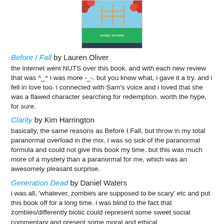[Figure (photo): Book cover of Generation Dead by Daniel Waters, partially visible at top of page]
Before I Fall by Lauren Oliver
the internet went NUTS over this book. and with each new review that was ^_^ i was more -_-. but you know what, i gave it a try. and i fell in love too. i connected with Sam's voice and i loved that she was a flawed character searching for redemption. worth the hype, for sure.
Clarity by Kim Harrington
basically, the same reasons as Before I Fall, but throw in my total paranormal overload in the mix. i was so sick of the paranormal formula and could not give this book my time. but this was much more of a mystery than a paranormal for me, which was an awesomely pleasant surprise.
Generation Dead by Daniel Waters
i was all, 'whatever, zombies are supposed to be scary' etc and put this book off for a long time. i was blind to the fact that zombies/differently biotic could represent some sweet social commentary and present some moral and ethical